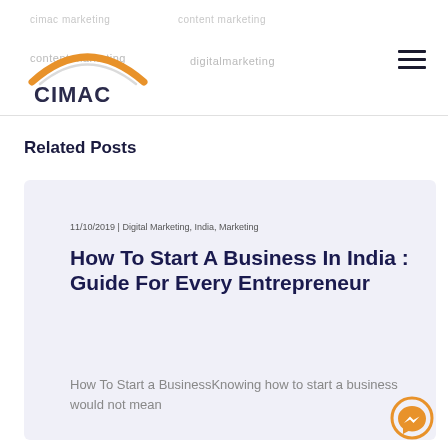cimac marketing  content marketing  content marketing  digitalmarketing
[Figure (logo): CIMAC logo with orange arc above text]
Related Posts
11/10/2019 | Digital Marketing, India, Marketing
How To Start A Business In India : Guide For Every Entrepreneur
How To Start a BusinessKnowing how to start a business would not mean